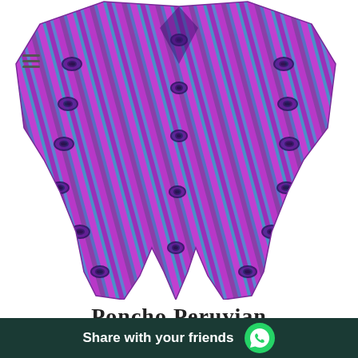[Figure (photo): A colorful Andean-style poncho with purple, blue, and magenta stripes and geometric eye patterns, displayed hanging against a white background.]
Share with your friends